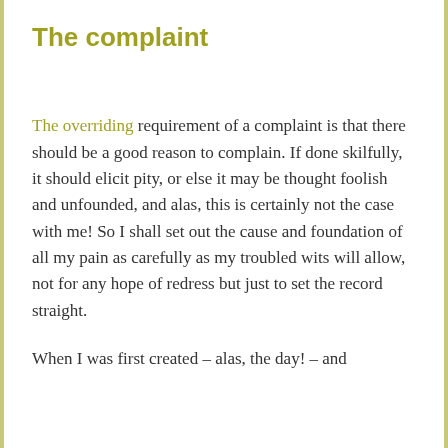The complaint
The overriding requirement of a complaint is that there should be a good reason to complain. If done skilfully, it should elicit pity, or else it may be thought foolish and unfounded, and alas, this is certainly not the case with me! So I shall set out the cause and foundation of all my pain as carefully as my troubled wits will allow, not for any hope of redress but just to set the record straight.
When I was first created – alas, the day! – and